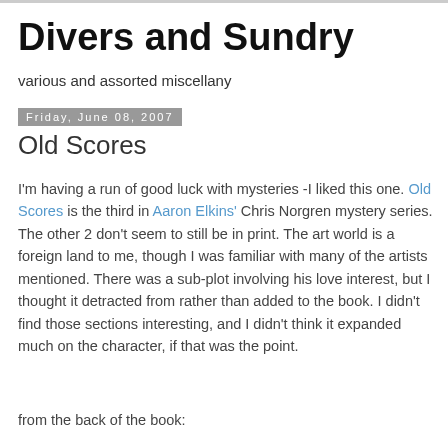Divers and Sundry
various and assorted miscellany
Friday, June 08, 2007
Old Scores
I'm having a run of good luck with mysteries -I liked this one. Old Scores is the third in Aaron Elkins' Chris Norgren mystery series. The other 2 don't seem to still be in print. The art world is a foreign land to me, though I was familiar with many of the artists mentioned. There was a sub-plot involving his love interest, but I thought it detracted from rather than added to the book. I didn't find those sections interesting, and I didn't think it expanded much on the character, if that was the point.
from the back of the book: